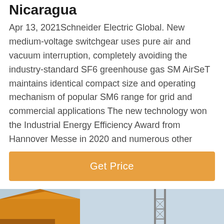Nicaragua
Apr 13, 2021Schneider Electric Global. New medium-voltage switchgear uses pure air and vacuum interruption, completely avoiding the industry-standard SF6 greenhouse gas SM AirSeT maintains identical compact size and operating mechanism of popular SM6 range for grid and commercial applications The new technology won the Industrial Energy Efficiency Award from Hannover Messe in 2020 and numerous other
[Figure (other): Orange 'Get Price' button]
[Figure (photo): Industrial scene with yellow machinery and a tower crane against a light blue sky, with a bottom navigation bar featuring Leave Message and Chat Online buttons and a customer service agent avatar]
Leave Message   Chat Online